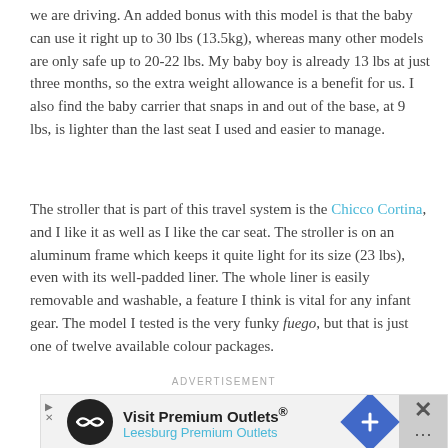we are driving.  An added bonus with this model is that the baby can use it right up to 30 lbs (13.5kg), whereas many other models are only safe up to 20-22 lbs.  My baby boy is already 13 lbs at just three months, so the extra weight allowance is a benefit for us.  I also find the baby carrier that snaps in and out of the base, at 9 lbs, is lighter than the last seat I used and easier to manage.
The stroller that is part of this travel system is the Chicco Cortina, and I like it as well as I like the car seat.  The stroller is on an aluminum frame which keeps it quite light for its size (23 lbs), even with its well-padded liner.  The whole liner is easily removable and washable, a feature I think is vital for any infant gear.  The model I tested is the very funky fuego, but that is just one of twelve available colour packages.
ADVERTISEMENT
[Figure (other): Advertisement banner for Visit Premium Outlets / Leesburg Premium Outlets with logo, diamond navigation icon, and close button]